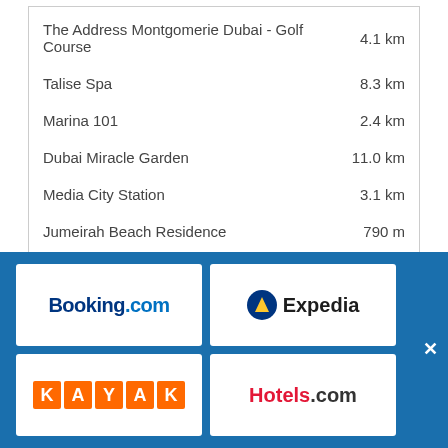| Location | Distance |
| --- | --- |
| The Address Montgomerie Dubai - Golf Course | 4.1 km |
| Talise Spa | 8.3 km |
| Marina 101 | 2.4 km |
| Dubai Miracle Garden | 11.0 km |
| Media City Station | 3.1 km |
| Jumeirah Beach Residence | 790 m |
| Location | Distance |
| --- | --- |
| Palm Islands | 5.4 km |
| Umm Suqeim Beach | 10.7 km |
| Ski Dubai | 8.1 km |
[Figure (logo): Booking.com logo]
[Figure (logo): Expedia logo]
[Figure (logo): KAYAK logo]
[Figure (logo): Hotels.com logo]